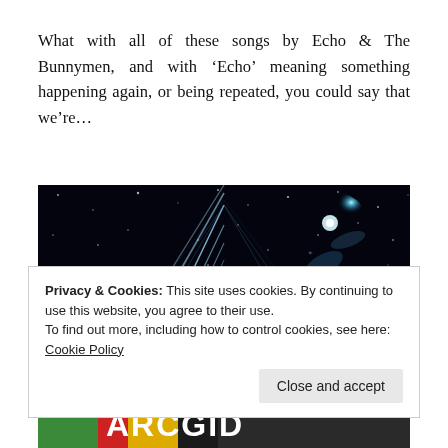What with all of these songs by Echo & The Bunnymen, and with 'Echo' meaning something happening again, or being repeated, you could say that we're...
[Figure (photo): A dark space/cosmic themed image with geometric triangle/chevron line patterns in light blue/white against a black starfield background, with a bright light source visible in the upper right area.]
[Figure (photo): Partial view of a colorful image at the bottom showing text 'ARCGID' or similar in large letters.]
Privacy & Cookies: This site uses cookies. By continuing to use this website, you agree to their use.
To find out more, including how to control cookies, see here: Cookie Policy